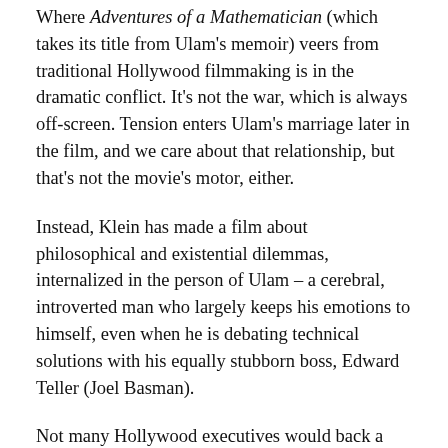Where Adventures of a Mathematician (which takes its title from Ulam's memoir) veers from traditional Hollywood filmmaking is in the dramatic conflict. It's not the war, which is always off-screen. Tension enters Ulam's marriage later in the film, and we care about that relationship, but that's not the movie's motor, either.
Instead, Klein has made a film about philosophical and existential dilemmas, internalized in the person of Ulam – a cerebral, introverted man who largely keeps his emotions to himself, even when he is debating technical solutions with his equally stubborn boss, Edward Teller (Joel Basman).
Not many Hollywood executives would back a film whose protagonist is pitched on the horns of another triangle, namely the conflicting pulls of intellectual satisfaction, personal morality and